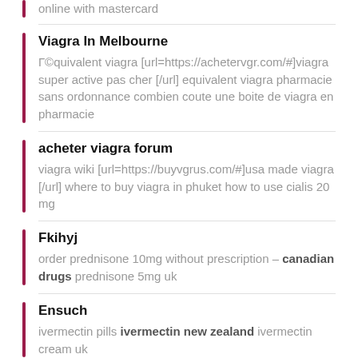online with mastercard
Viagra In Melbourne
Г©quivalent viagra [url=https://achetervgr.com/#]viagra super active pas cher [/url] equivalent viagra pharmacie sans ordonnance combien coute une boite de viagra en pharmacie
acheter viagra forum
viagra wiki [url=https://buyvgrus.com/#]usa made viagra [/url] where to buy viagra in phuket how to use cialis 20 mg
Fkihyj
order prednisone 10mg without prescription – canadian drugs prednisone 5mg uk
Ensuch
ivermectin pills ivermectin new zealand ivermectin cream uk
Failec forum